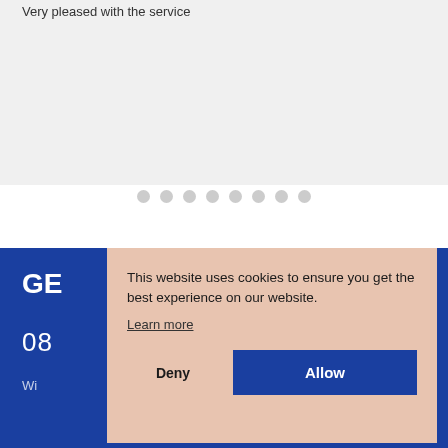Very pleased with the service
[Figure (other): Pagination dots row — 8 grey circles in a horizontal row indicating a carousel/slideshow position indicator]
GE
08
Wi
This website uses cookies to ensure you get the best experience on our website.
Learn more
Deny
Allow